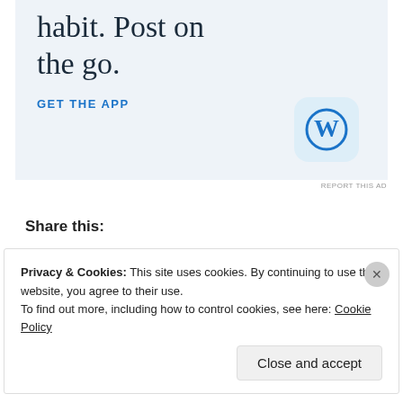[Figure (screenshot): WordPress app advertisement with text 'habit. Post on the go.' and a GET THE APP call-to-action link, with WordPress icon (W in circle on light blue background)]
REPORT THIS AD
Share this:
Twitter  Facebook
Privacy & Cookies: This site uses cookies. By continuing to use this website, you agree to their use.
To find out more, including how to control cookies, see here: Cookie Policy
Close and accept